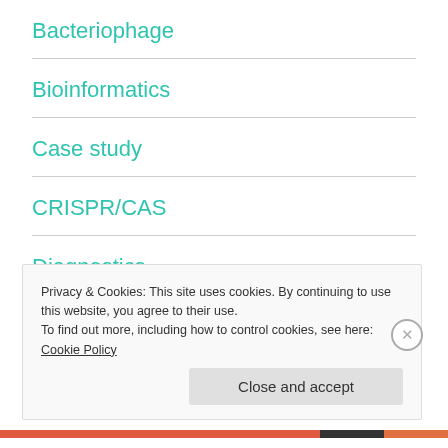Bacteriophage
Bioinformatics
Case study
CRISPR/CAS
Diagnostics
Ecology
Privacy & Cookies: This site uses cookies. By continuing to use this website, you agree to their use.
To find out more, including how to control cookies, see here: Cookie Policy
Close and accept